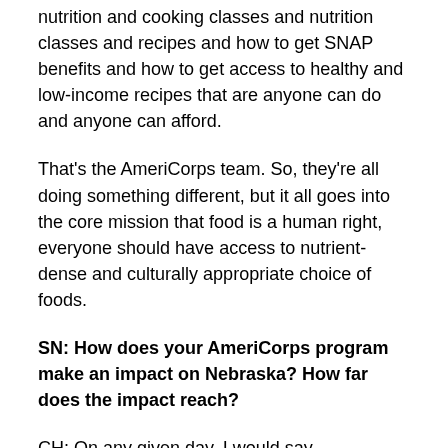nutrition and cooking classes and nutrition classes and recipes and how to get SNAP benefits and how to get access to healthy and low-income recipes that are anyone can do and anyone can afford.
That's the AmeriCorps team. So, they're all doing something different, but it all goes into the core mission that food is a human right, everyone should have access to nutrient-dense and culturally appropriate choice of foods.
SN: How does your AmeriCorps program make an impact on Nebraska? How far does the impact reach?
CH: On any given day, I would say somewhere between, and I'm not kidding you, somewhere between 200 to 300 households are impacted, because they're making certain that every single person that comes in gets not just food, but quality food. They're making certain that if there is a bad bell